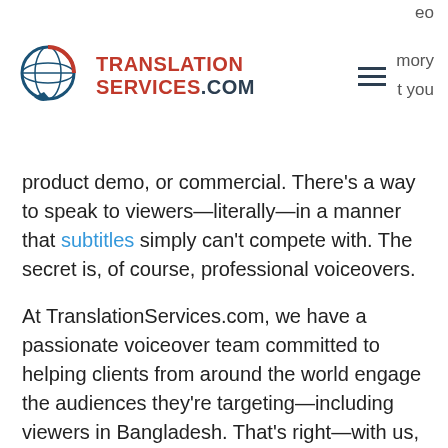eo  mory  t you
[Figure (logo): TranslationServices.com logo with globe icon]
product demo, or commercial. There’s a way to speak to viewers—literally—in a manner that subtitles simply can’t compete with. The secret is, of course, professional voiceovers.
At TranslationServices.com, we have a passionate voiceover team committed to helping clients from around the world engage the audiences they’re targeting—including viewers in Bangladesh. That’s right—with us, you can receive high-quality, professional Bengali voiceovers. Our well-rounded service involves casting the best-suited actors, recording lines with state-of-